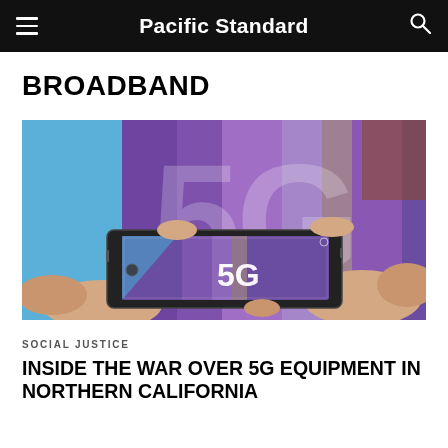Pacific Standard
BROADBAND
[Figure (photo): Two hands holding a smartphone horizontally, with the phone's camera screen showing a large purple '5G' sign being photographed. In the background, the same large illuminated '5G' display is visible in blue and purple.]
SOCIAL JUSTICE
INSIDE THE WAR OVER 5G EQUIPMENT IN NORTHERN CALIFORNIA